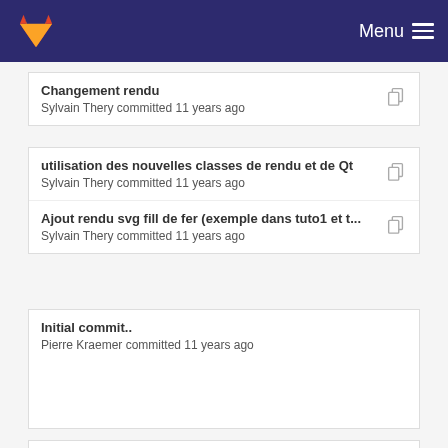GitLab — Menu
Changement rendu
Sylvain Thery committed 11 years ago
utilisation des nouvelles classes de rendu et de Qt
Sylvain Thery committed 11 years ago
Ajout rendu svg fill de fer (exemple dans tuto1 et t...
Sylvain Thery committed 11 years ago
Initial commit..
Pierre Kraemer committed 11 years ago
ajout exemple: polyhedron, extrusion, scene